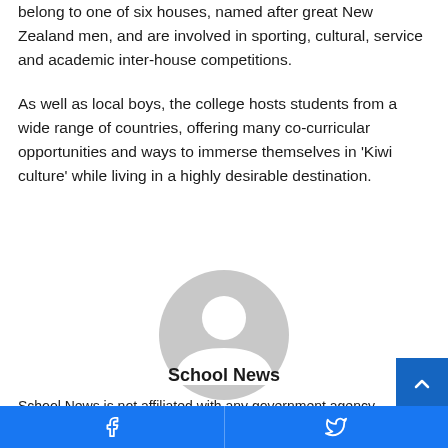belong to one of six houses, named after great New Zealand men, and are involved in sporting, cultural, service and academic inter-house competitions.
As well as local boys, the college hosts students from a wide range of countries, offering many co-curricular opportunities and ways to immerse themselves in 'Kiwi culture' while living in a highly desirable destination.
[Figure (illustration): Generic grey avatar/profile placeholder icon showing a person silhouette]
School News
School News is not affiliated with any government agency, body or political
Facebook  Twitter